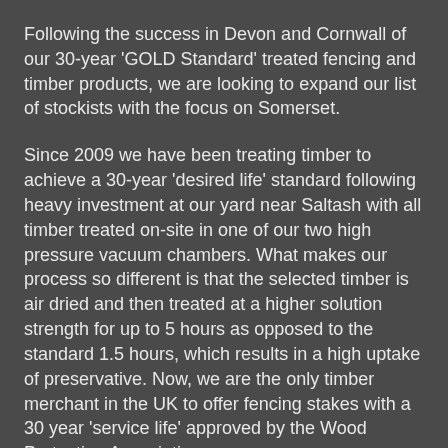Following the success in Devon and Cornwall of our 30-year 'GOLD Standard' treated fencing and timber products, we are looking to expand our list of stockists with the focus on Somerset.
Since 2009 we have been treating timber to achieve a 30-year 'desired life' standard following heavy investment at our yard near Saltash with all timber treated on-site in one of our two high pressure vacuum chambers. What makes our process so different is that the selected timber is air dried and then treated at a higher solution strength for up to 5 hours as opposed to the standard 1.5 hours, which results in a high uptake of preservative. Now, we are the only timber merchant in the UK to offer fencing stakes with a 30 year 'service life' approved by the Wood Protection Association.
We provide our stockists with marketing support and sales literature, whilst feeding leads generated via our own advertising in the fencing industry trade media and via our